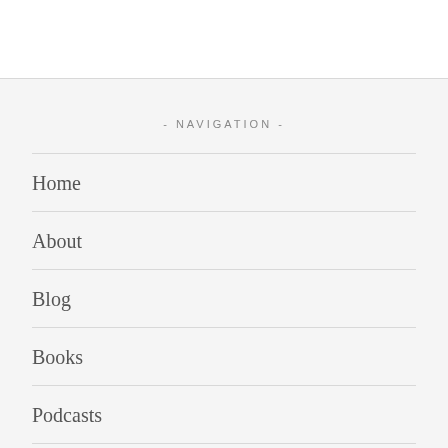- NAVIGATION -
Home
About
Blog
Books
Podcasts
Media